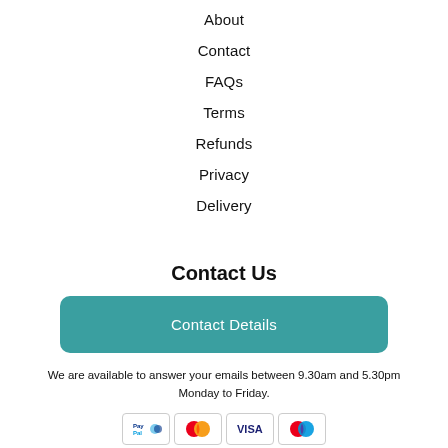About
Contact
FAQs
Terms
Refunds
Privacy
Delivery
Contact Us
Contact Details
We are available to answer your emails between 9.30am and 5.30pm Monday to Friday.
[Figure (other): Payment method icons: PayPal, Mastercard, Visa, Maestro]